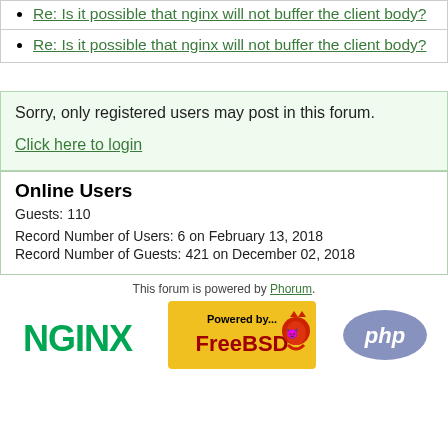Re: Is it possible that nginx will not buffer the client body?
Re: Is it possible that nginx will not buffer the client body?
Sorry, only registered users may post in this forum.
Click here to login
Online Users
Guests: 110
Record Number of Users: 6 on February 13, 2018
Record Number of Guests: 421 on December 02, 2018
This forum is powered by Phorum.